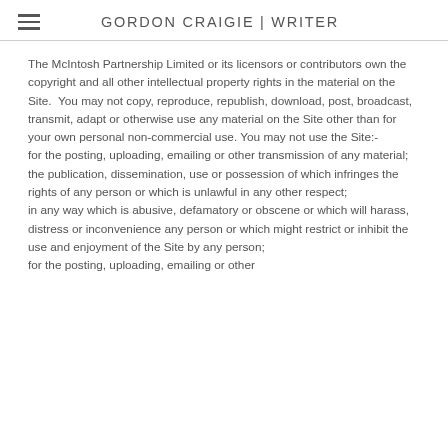GORDON CRAIGIE | WRITER
The McIntosh Partnership Limited or its licensors or contributors own the copyright and all other intellectual property rights in the material on the Site. You may not copy, reproduce, republish, download, post, broadcast, transmit, adapt or otherwise use any material on the Site other than for your own personal non-commercial use. You may not use the Site:-
for the posting, uploading, emailing or other transmission of any material; the publication, dissemination, use or possession of which infringes the rights of any person or which is unlawful in any other respect;
in any way which is abusive, defamatory or obscene or which will harass, distress or inconvenience any person or which might restrict or inhibit the use and enjoyment of the Site by any person;
for the posting, uploading, emailing or other